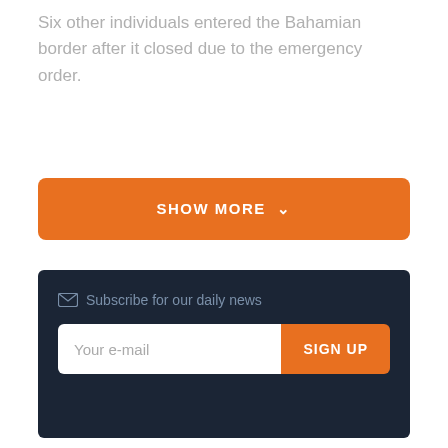Six other individuals entered the Bahamian border after it closed due to the emergency order.
[Figure (other): Orange 'SHOW MORE' button with chevron/down arrow]
[Figure (other): Dark navy email subscription box with envelope icon, label 'Subscribe for our daily news', email input field with placeholder 'Your e-mail', and orange 'SIGN UP' button]
< Previous Post
Philip Davis: Govt Is
Next Post
PM Says He Won't Be at